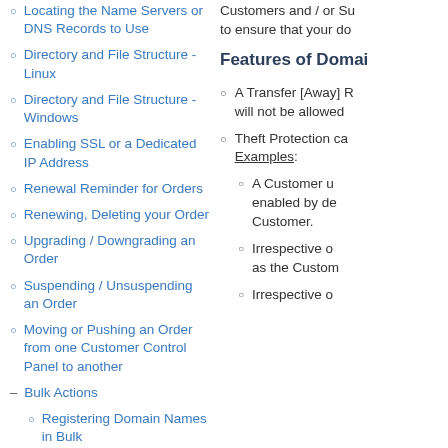Locating the Name Servers or DNS Records to Use
Directory and File Structure - Linux
Directory and File Structure - Windows
Enabling SSL or a Dedicated IP Address
Renewal Reminder for Orders
Renewing, Deleting your Order
Upgrading / Downgrading an Order
Suspending / Unsuspending an Order
Moving or Pushing an Order from one Customer Control Panel to another
Bulk Actions
Registering Domain Names in Bulk
Customers and / or Sub-customers to ensure that your do
Features of Domai
A Transfer [Away] R will not be allowed
Theft Protection ca
Examples:
A Customer u enabled by de Customer.
Irrespective o as the Custom
Irrespective o